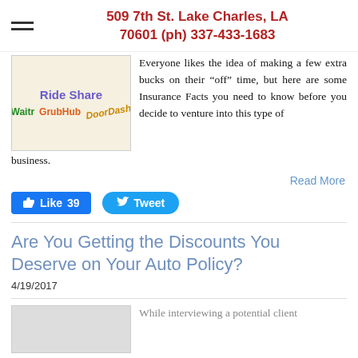509 7th St. Lake Charles, LA 70601 (ph) 337-433-1683
[Figure (illustration): Ride Share image with logos: Waitr (green), GrubHub (orange), DoorDash (gold/italic) on a beige background with decorative icon]
Everyone likes the idea of making a few extra bucks on their “off” time, but here are some Insurance Facts you need to know before you decide to venture into this type of business.
Read More
[Figure (screenshot): Facebook Like button with count 39 and Twitter Tweet button]
Are You Getting the Discounts You Deserve on Your Auto Policy?
4/19/2017
[Figure (illustration): Thumbnail image placeholder for the auto policy article]
While interviewing a potential client